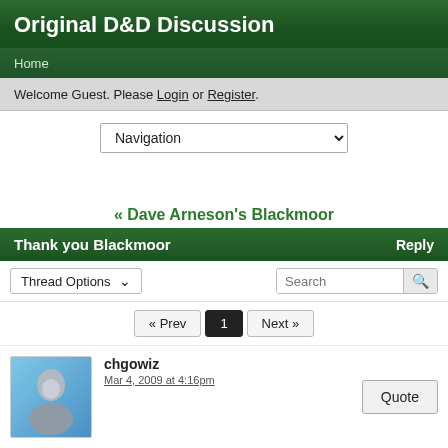Original D&D Discussion
Home
Welcome Guest. Please Login or Register.
Navigation
« Dave Arneson's Blackmoor
Thank you Blackmoor  Reply
Thread Options  Search
« Prev  1  Next »
chgowiz
Mar 4, 2009 at 4:16pm
Quote